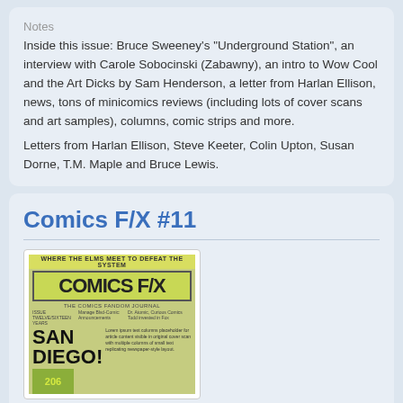Notes
Inside this issue: Bruce Sweeney's "Underground Station", an interview with Carole Sobocinski (Zabawny), an intro to Wow Cool and the Art Dicks by Sam Henderson, a letter from Harlan Ellison, news, tons of minicomics reviews (including lots of cover scans and art samples), columns, comic strips and more.
Letters from Harlan Ellison, Steve Keeter, Colin Upton, Susan Dorne, T.M. Maple and Bruce Lewis.
Comics F/X #11
[Figure (photo): Cover of Comics F/X magazine showing 'SAN DIEGO!' headline with Comics F/X logo on a newspaper-style layout with green background elements]
Category:  Reference Materials
Country  USA